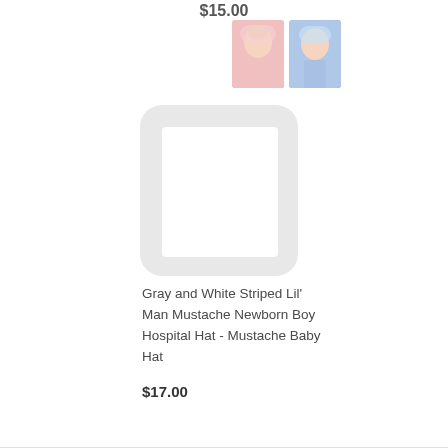$15.00
[Figure (photo): Two small thumbnail photos of newborn babies wearing hospital hats - one pink striped hat, one blue striped hat]
[Figure (photo): Product image placeholder - light gray rounded rectangle frame with white interior, representing a baby hat product image]
Gray and White Striped Lil' Man Mustache Newborn Boy Hospital Hat - Mustache Baby Hat
$17.00